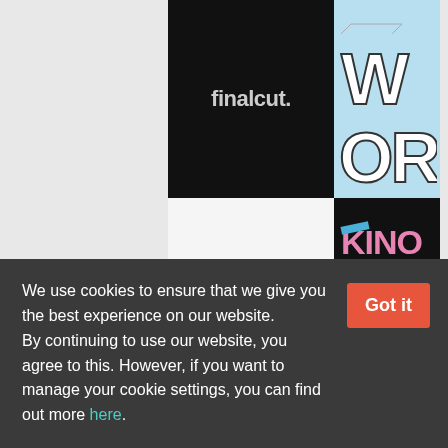[Figure (logo): finalcut. logo on black background]
[Figure (logo): WORK text logo in 3D block letters on light blue background]
[Figure (logo): KINOMOTO logo in pink and blue letters on black background]
[Figure (logo): KVTV text on black background, partially visible]
We use cookies to ensure that we give you the best experience on our website. By continuing to use our website, you agree to this. However, if you want to manage your cookie settings, you can find out more here.